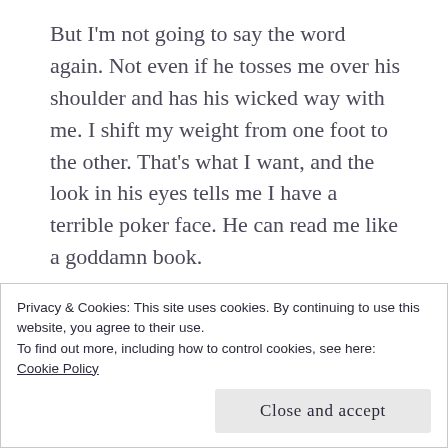But I'm not going to say the word again. Not even if he tosses me over his shoulder and has his wicked way with me. I shift my weight from one foot to the other. That's what I want, and the look in his eyes tells me I have a terrible poker face. He can read me like a goddamn book.
“What are we doing?” I ask when he fills the space before me, and all I can smell is him. His lips twitch when he thinks. It’s endearing and so arousing. I want to rise up on my tiptoes and taste him.
Privacy & Cookies: This site uses cookies. By continuing to use this website, you agree to their use.
To find out more, including how to control cookies, see here:
Cookie Policy
Close and accept